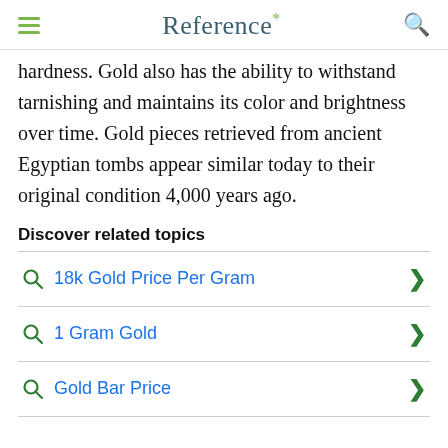Reference*
hardness. Gold also has the ability to withstand tarnishing and maintains its color and brightness over time. Gold pieces retrieved from ancient Egyptian tombs appear similar today to their original condition 4,000 years ago.
Discover related topics
18k Gold Price Per Gram
1 Gram Gold
Gold Bar Price